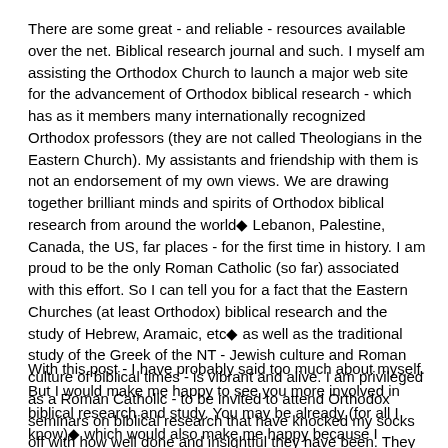There are some great - and reliable - resources available over the net. Biblical research journal and such. I myself am assisting the Orthodox Church to launch a major web site for the advancement of Orthodox biblical research - which has as it members many internationally recognized Orthodox professors (they are not called Theologians in the Eastern Church). My assistants and friendship with them is not an endorsement of my own views. We are drawing together brilliant minds and spirits of Orthodox biblical research from around the world◆ Lebanon, Palestine, Canada, the US, far places - for the first time in history. I am proud to be the only Roman Catholic (so far) associated with this effort. So I can tell you for a fact that the Eastern Churches (at least Orthodox) biblical research and the study of Hebrew, Aramaic, etc◆ as well as the traditional study of the Greek of the NT - Jewish culture and Roman culture of biblical times - is vibrant and alive. I am privileged as a Roman Catholic - to be invited to attend Orthodox seminars on biblical research that have knocked my socks off with how well done and insightful they have been. They are spiritual food - indeed. So I have first hand experience at the underlying unity of the Catholic and Orthodox worlds. Truth and reality - is not the exclusive possession of any one man nor group.
With this post - I have probably said too much about myself. But I would make me happy to see you more involved in biblical research and study. You may be already (for all I know)◆ which would also make me happy because I recognise your own capability to do well and grow spiritually.